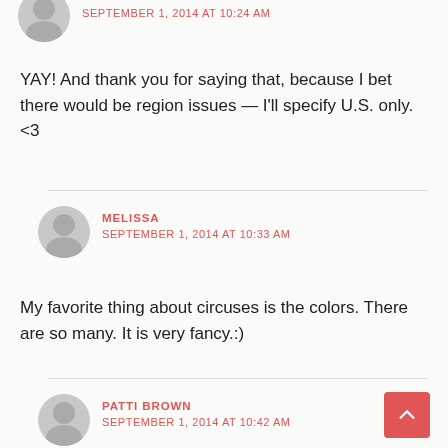[Figure (illustration): Gray avatar icon of a person (top of page, partially cut off)]
SEPTEMBER 1, 2014 AT 10:24 AM
YAY! And thank you for saying that, because I bet there would be region issues — I'll specify U.S. only. <3
[Figure (illustration): Gray avatar icon of a person for Melissa comment]
MELISSA
SEPTEMBER 1, 2014 AT 10:33 AM
My favorite thing about circuses is the colors. There are so many. It is very fancy.:)
[Figure (illustration): Gray avatar icon of a person for Patti Brown comment]
PATTI BROWN
SEPTEMBER 1, 2014 AT 10:42 AM